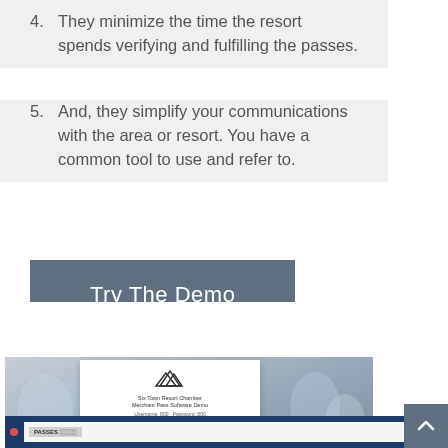4. They minimize the time the resort spends verifying and fulfilling the passes.
5. And, they simplify your communications with the area or resort. You have a common tool to use and refer to.
[Figure (screenshot): A button labeled 'Try The Demo' on a grey background]
[Figure (screenshot): Screenshot showing a ski resort pass software demo login interface with snowy background, login box with mountain logo, and a browser window showing PASSES interface. A back-to-top arrow button is visible in the bottom right.]